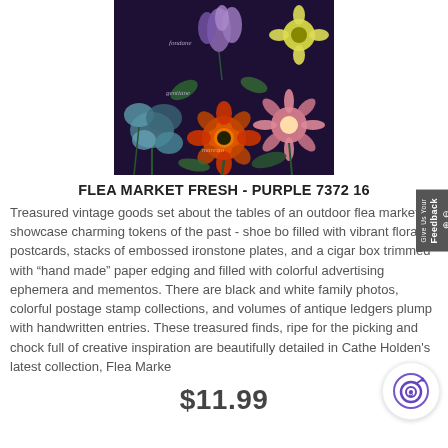[Figure (photo): Dark purple background with illustrated vintage botanical flowers including orange, pink, blue, and yellow blooms with green foliage and handwritten labels]
FLEA MARKET FRESH - PURPLE 7372 16
Treasured vintage goods set about the tables of an outdoor flea market showcase charming tokens of the past - shoe boxes filled with vibrant floral postcards, stacks of embossed ironstone plates, and a cigar box trimmed with "hand made" paper edging and filled with colorful advertising ephemera and mementos. There are black and white family photos, colorful postage stamp collections, and volumes of antique ledgers plump with handwritten entries. These treasured finds, ripe for the picking and chock full of creative inspiration are beautifully detailed in Cathe Holden's latest collection, Flea Market Fresh.
$11.99